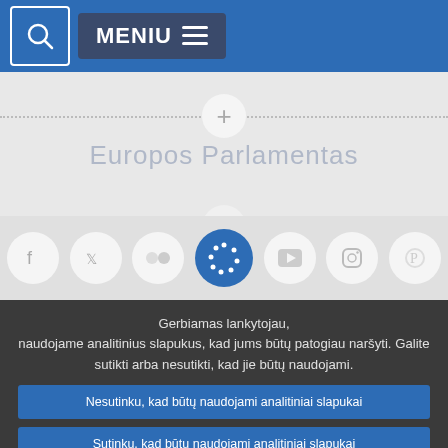[Figure (screenshot): Navigation bar with search icon and MENIU (menu) button on blue background]
[Figure (screenshot): Gray content area with European Parliament website: dotted separator lines, plus/expand circles, 'Europos Parlamentas' title text, animated EU stars loading indicator, and social media icon row (Facebook, Twitter, Flickr, EU stars, YouTube, Instagram, Pinterest)]
Gerbiamas lankytojau,
naudojame analitinius slapukus, kad jums būtų patogiau naršyti. Galite sutikti arba nesutikti, kad jie būtų naudojami.
Nesutinku, kad būtų naudojami analitiniai slapukai
Sutinku, kad būtų naudojami analitiniai slapukai
Informaciją apie kitus mūsų naudojamus slapukus ir serverio žurnalus